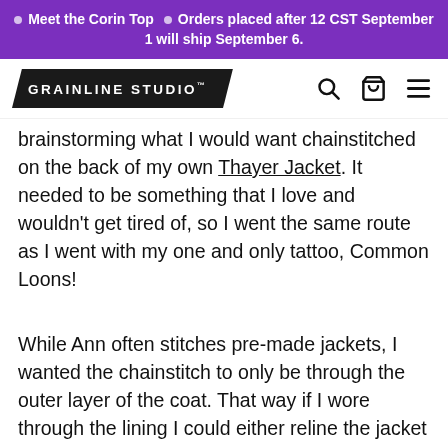Meet the Corin Top ☆ Orders placed after 12 CST September 1 will ship September 6.
[Figure (logo): Grainline Studio logo in black arrow/chevron shape with search, bag, and menu icons]
brainstorming what I would want chainstitched on the back of my own Thayer Jacket. It needed to be something that I love and wouldn't get tired of, so I went the same route as I went with my one and only tattoo, Common Loons!
While Ann often stitches pre-made jackets, I wanted the chainstitch to only be through the outer layer of the coat. That way if I wore through the lining I could either reline the jacket or take out the chainstitch piece for art. With this in mind I gave Ann the jacket back sewn together along the center back, and the